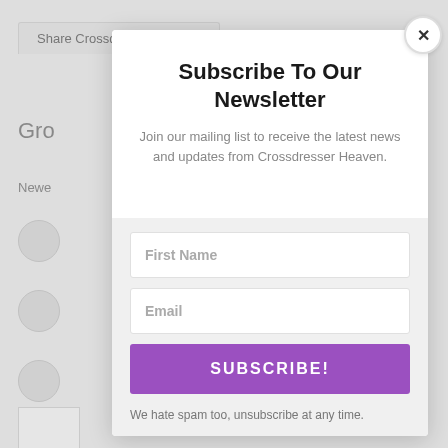[Figure (screenshot): Background website page with tab labeled 'Share Crossdresser Heaven', partial text 'Gro', 'Newe', and circular avatar placeholders on left side]
Subscribe To Our Newsletter
Join our mailing list to receive the latest news and updates from Crossdresser Heaven.
First Name
Email
SUBSCRIBE!
We hate spam too, unsubscribe at any time.